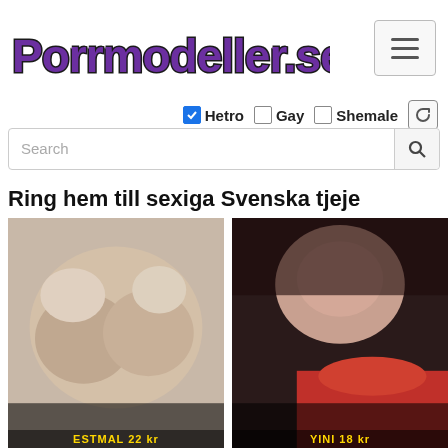Porrmodeller.se
[Figure (screenshot): Hamburger menu button top right]
Hetro  Gay  Shemale
Search
Ring hem till sexiga Svenska tjeje…
[Figure (photo): Close-up photo placeholder left]
[Figure (photo): Close-up photo placeholder right]